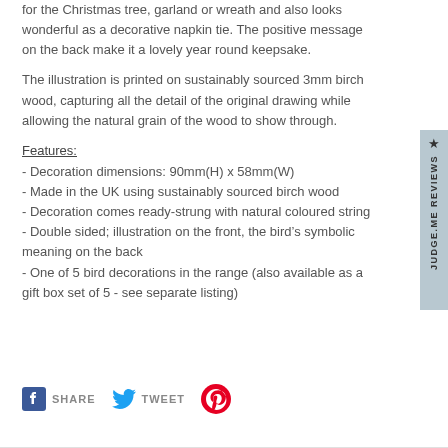for the Christmas tree, garland or wreath and also looks wonderful as a decorative napkin tie. The positive message on the back make it a lovely year round keepsake.
The illustration is printed on sustainably sourced 3mm birch wood, capturing all the detail of the original drawing while allowing the natural grain of the wood to show through.
Features:
- Decoration dimensions: 90mm(H) x 58mm(W)
- Made in the UK using sustainably sourced birch wood
- Decoration comes ready-strung with natural coloured string
- Double sided; illustration on the front, the bird's symbolic meaning on the back
- One of 5 bird decorations in the range (also available as a gift box set of 5 - see separate listing)
SHARE  TWEET  (Pinterest icon)